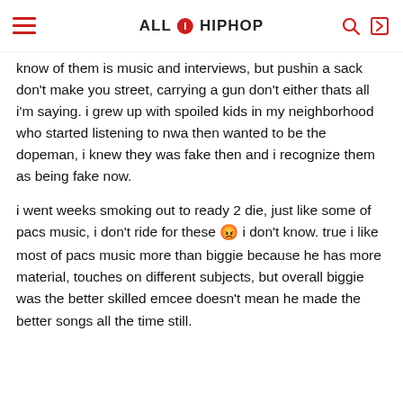ALL HIP HOP
know of them is music and interviews, but pushin a sack don't make you street, carrying a gun don't either thats all i'm saying. i grew up with spoiled kids in my neighborhood who started listening to nwa then wanted to be the dopeman, i knew they was fake then and i recognize them as being fake now.

i went weeks smoking out to ready 2 die, just like some of pacs music, i don't ride for these [emoji] i don't know. true i like most of pacs music more than biggie because he has more material, touches on different subjects, but overall biggie was the better skilled emcee doesn't mean he made the better songs all the time still.